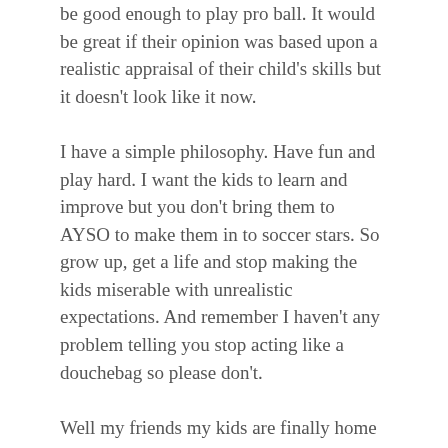be good enough to play pro ball. It would be great if their opinion was based upon a realistic appraisal of their child's skills but it doesn't look like it now.
I have a simple philosophy. Have fun and play hard. I want the kids to learn and improve but you don't bring them to AYSO to make them in to soccer stars. So grow up, get a life and stop making the kids miserable with unrealistic expectations. And remember I haven't any problem telling you stop acting like a douchebag so please don't.
Well my friends my kids are finally home so it is time for old Jack to sign off and go play with